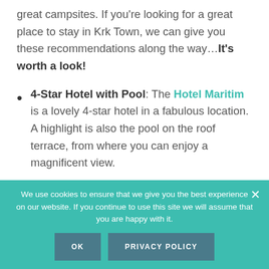great campsites. If you're looking for a great place to stay in Krk Town, we can give you these recommendations along the way…It's worth a look!
4-Star Hotel with Pool: The Hotel Maritim is a lovely 4-star hotel in a fabulous location. A highlight is also the pool on the roof terrace, from where you can enjoy a magnificent view.
We use cookies to ensure that we give you the best experience on our website. If you continue to use this site we will assume that you are happy with it.